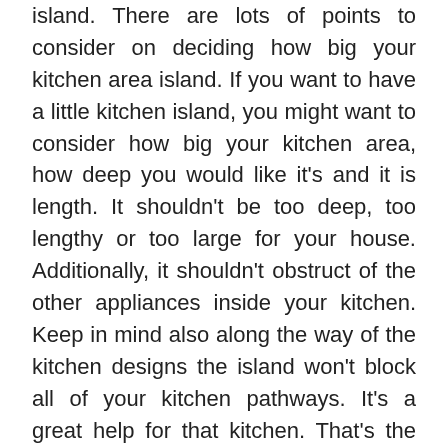island. There are lots of points to consider on deciding how big your kitchen area island. If you want to have a little kitchen island, you might want to consider how big your kitchen area, how deep you would like it's and it is length. It shouldn't be too deep, too lengthy or too large for your house. Additionally, it shouldn't obstruct of the other appliances inside your kitchen. Keep in mind also along the way of the kitchen designs the island won't block all of your kitchen pathways. It's a great help for that kitchen. That's the reason adding it shouldn't cause any difficulty for you and your guest that could enter your kitchen area.
There a couple of figures of types for the kitchen designs that you can buy. So picking the right island design will probably be your decision. It ought to be